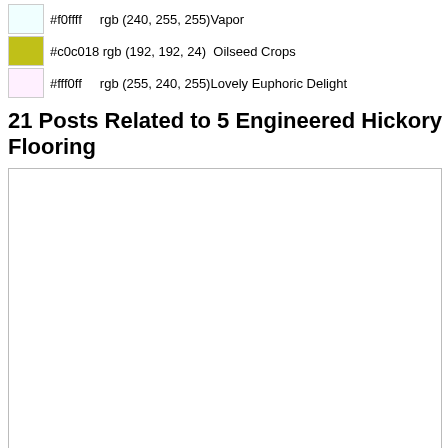#f0ffff    rgb (240, 255, 255)Vapor
#c0c018 rgb (192, 192, 24)  Oilseed Crops
#fff0ff    rgb (255, 240, 255)Lovely Euphoric Delight
21 Posts Related to 5 Engineered Hickory Flooring
[Figure (other): Large white/blank image placeholder area with border]